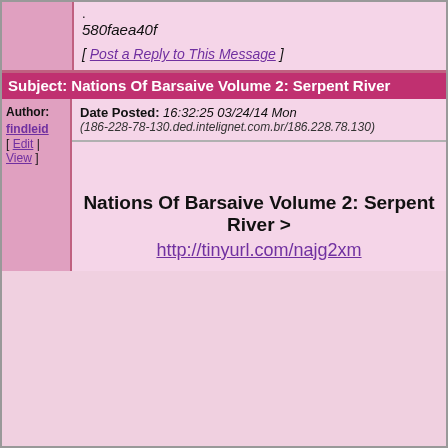.
580faea40f
[ Post a Reply to This Message ]
Subject: Nations Of Barsaive Volume 2: Serpent River
Author: findleid
[ Edit | View ]
Date Posted: 16:32:25 03/24/14 Mon
(186-228-78-130.ded.intelignet.com.br/186.228.78.130)
Nations Of Barsaive Volume 2: Serpent River > http://tinyurl.com/najg2xm